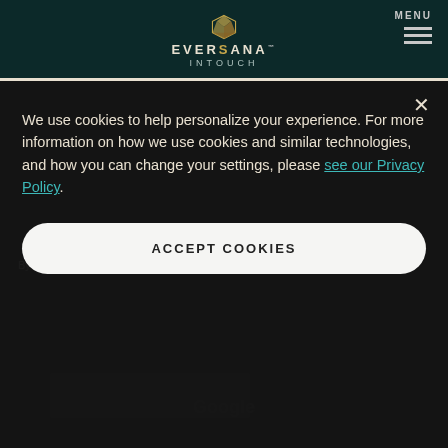EVERSANA INTOUCH — MENU
Google Updates Its Medical Knowledge Graph
By Ryan Thomason | Category, Search
We use cookies to help personalize your experience. For more information on how we use cookies and similar technologies, and how you can change your settings, please see our Privacy Policy.
ACCEPT COOKIES
[Figure (photo): Dark background image showing a Google-branded device or screen]